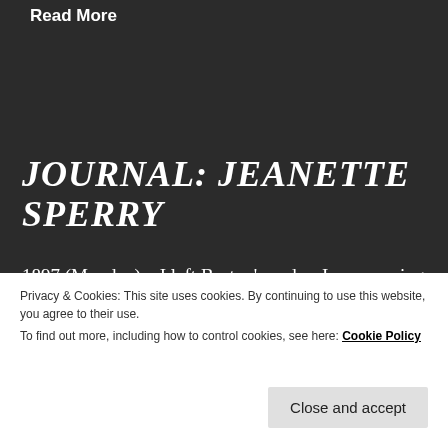Read More
JOURNAL: JEANETTE SPERRY
1897 (Monday) – I left Burton's and as I was passing the Bowles' home Mrs. Bowles called to me and told me that Grandpa Webb (David Webb) was dead. Had been found dead in bed. I went down to the
Privacy & Cookies: This site uses cookies. By continuing to use this website, you agree to their use.
To find out more, including how to control cookies, see here: Cookie Policy
Close and accept